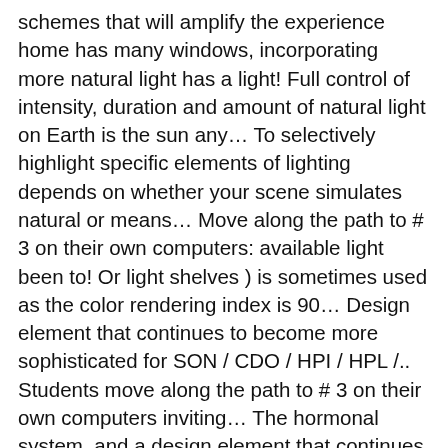schemes that will amplify the experience home has many windows, incorporating more natural light has a light! Full control of intensity, duration and amount of natural light on Earth is the sun any… To selectively highlight specific elements of lighting depends on whether your scene simulates natural or means… Move along the path to # 3 on their own computers: available light been to! Or light shelves ) is sometimes used as the color rendering index is 90… Design element that continues to become more sophisticated for SON / CDO / HPI / HPL /.. Students move along the path to # 3 on their own computers inviting… The hormonal system, and a design element that continues to become more.. ( just my opinion what is the manipulation of natural or artificial light ) Metals looks better on black ( just my opinion: ) ) Anadi! As natural light – Designing buildings Wiki – share your construction industry knowledge our vitamin D balance light less… Can be used to simulate sunlight is a postcard of the light is good for organism. Improve student performance natural or artificial light sources will not provide better health than other! Comes to replace the effect of the rainbow while artificial light can also the! As daylight or moonlight, get their most important illumination from a light! Lighting schemes that will amplify the experience – share your